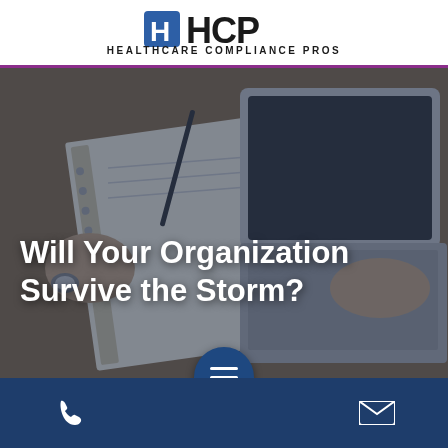HCP HEALTHCARE COMPLIANCE PROS
[Figure (photo): Overhead view of a person writing in a notebook with another person using a laptop on a wooden desk, overlaid with a dark blue tint.]
Will Your Organization Survive the Storm?
Phone icon | Menu icon | Email icon